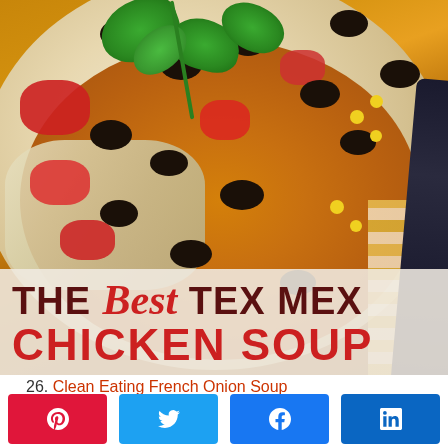[Figure (photo): Close-up photo of a bowl of Tex Mex Chicken Soup topped with black beans, diced tomatoes, corn, shredded chicken, and fresh cilantro, with a dark utensil and striped napkin visible on the right side. Overlaid text reads 'THE Best TEX MEX CHICKEN SOUP'.]
26. Clean Eating French Onion Soup